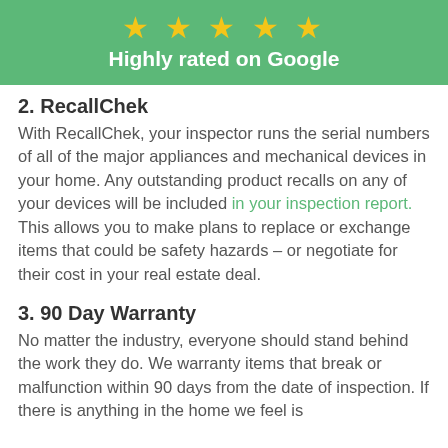[Figure (infographic): Green banner with five gold stars and text 'Highly rated on Google']
2. RecallChek
With RecallChek, your inspector runs the serial numbers of all of the major appliances and mechanical devices in your home. Any outstanding product recalls on any of your devices will be included in your inspection report. This allows you to make plans to replace or exchange items that could be safety hazards – or negotiate for their cost in your real estate deal.
3. 90 Day Warranty
No matter the industry, everyone should stand behind the work they do. We warranty items that break or malfunction within 90 days from the date of inspection. If there is anything in the home we feel is